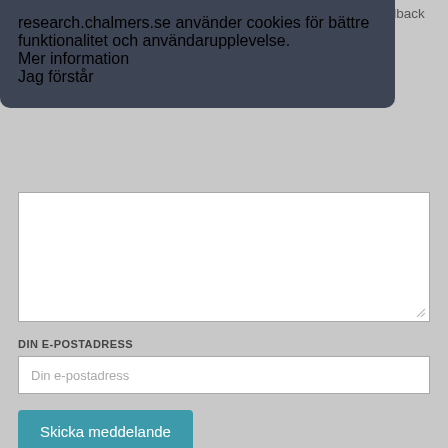Om du har frågor, behöver hjälp, hittar en bugg eller vill ge feedback kan du göra det här nedan. Du når oss också direkt
[Figure (screenshot): Cookie consent overlay dialog with dark background (#3d4555) containing bold white text 'research.chalmers.se använder cookies för bättre funktionalitet och användarupplevelse.', a 'Mer information' underlined link, and a teal 'Jag förstår' button.]
DIN E-POSTADRESS
Din e-postadress
Skicka meddelande
Om tjänsten